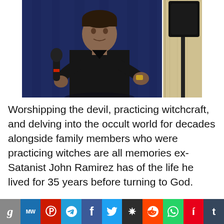[Figure (photo): A man in a black t-shirt speaking into a microphone on stage, with a dark blue curtain backdrop and a speaker stand visible to the right.]
Worshipping the devil, practicing witchcraft, and delving into the occult world for decades alongside family members who were practicing witches are all memories ex-Satanist John Ramirez has of the life he lived for 35 years before turning to God.
[Figure (infographic): Social sharing bar with icons for Gab, MeWe, Parler, Telegram, Facebook, Twitter, Stumbleupon, Reddit, WhatsApp, Apple News, Tumblr]